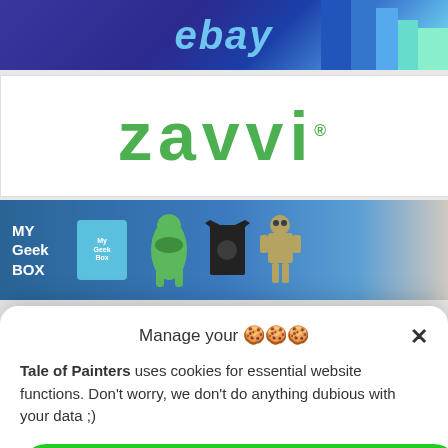[Figure (screenshot): eBay advertisement banner with blue/purple gradient background and eBay logo in light blue italic text, with colored squares on the right side]
[Figure (logo): Zavvi logo in large green bold lowercase text on white background with registered trademark symbol]
[Figure (screenshot): My Geek Box advertisement banner with teal/blue background showing a box product and figurines including Hulk, a t-shirt, and a robot]
Manage your 🍪🍪🍪
Tale of Painters uses cookies for essential website functions. Don't worry, we don't do anything dubious with your data ;)
Accept cookies
Deny
View preferences